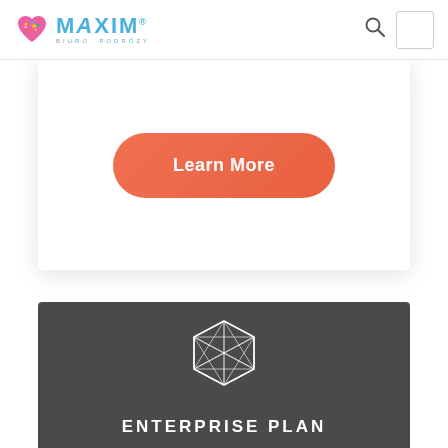[Figure (logo): Maxim Biuro Podróży logo with colorful heart icon and blue MAXIM text]
[Figure (screenshot): Learn More orange rounded button on white card panel]
[Figure (illustration): White geometric hexagon/diamond wireframe icon on dark grey background]
ENTERPRISE PLAN